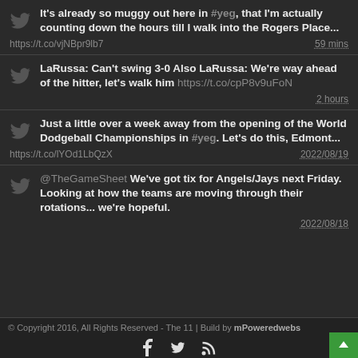It's already so muggy out here in #yeg, that I'm actually counting down the hours till I walk into the Rogers Place...
https://t.co/vjNBpr9lb7  59 mins
LaRussa: Can't swing 3-0 Also LaRussa: We're way ahead of the hitter, let's walk him https://t.co/cpP8v9uFoN  2 hours
Just a little over a week away from the opening of the World Dodgeball Championships in #yeg. Let's do this, Edmont...
https://t.co/lYOd1LbQzX  2022/08/19
@TheGameSheet We've got tix for Angels/Jays next Friday. Looking at how the teams are moving through their rotations... we're hopeful.  2022/08/18
© Copyright 2016, All Rights Reserved - The 11 | Build by mPoweredwebs